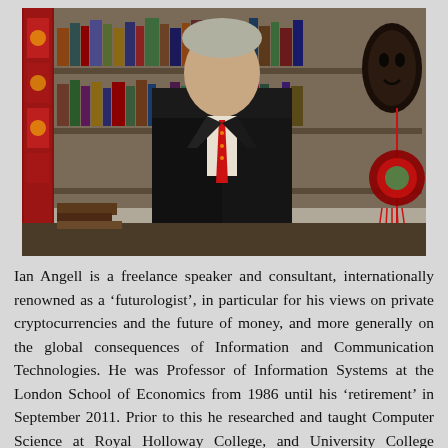[Figure (photo): Portrait photograph of Ian Angell standing in front of a bookshelf filled with books. He is wearing a dark suit with a red patterned tie. To the left is a red decorative fabric panel, and to the right is a dark wooden mask and a red Chinese decorative ornament with a green jade-like piece. The background shows shelves with books.]
Ian Angell is a freelance speaker and consultant, internationally renowned as a 'futurologist', in particular for his views on private cryptocurrencies and the future of money, and more generally on the global consequences of Information and Communication Technologies. He was Professor of Information Systems at the London School of Economics from 1986 until his 'retirement' in September 2011. Prior to this he researched and taught Computer Science at Royal Holloway College, and University College London.